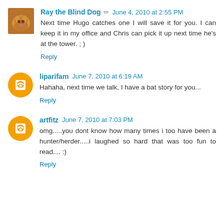Ray the Blind Dog  June 4, 2010 at 2:55 PM
Next time Hugo catches one I will save it for you. I can keep it in my office and Chris can pick it up next time he's at the tower. ; )
Reply
liparifam  June 7, 2010 at 6:19 AM
Hahaha, next time we talk, I have a bat story for you...
Reply
artfitz  June 7, 2010 at 7:03 PM
omg.....you dont know how many times i too have been a hunter/herder.....i laughed so hard that was too fun to read.... :)
Reply